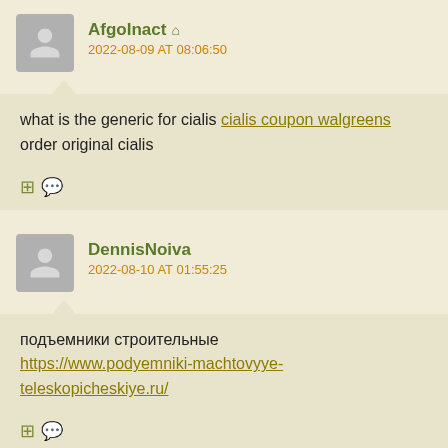AfgoInact 🏠
2022-08-09 AT 08:06:50
what is the generic for cialis cialis coupon walgreens order original cialis
DennisNoiva
2022-08-10 AT 01:55:25
подъемники строительные https://www.podyemniki-machtovyye-teleskopicheskiye.ru/
NrfxEmads 🏠